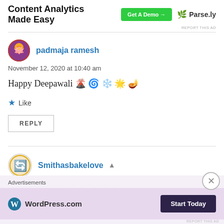[Figure (infographic): Advertisement banner for Parse.ly Content Analytics with 'Get A Demo' button and Parse.ly logo]
REPORT THIS AD
padmaja ramesh
November 12, 2020 at 10:40 am
Happy Deepawali 🌋 🌀 ❄️ 🌟 🪔
★ Like
REPLY
Smithasbakelove 👤
[Figure (infographic): WordPress.com advertisement with 'Start Today' button at bottom of page]
Advertisements
REPORT THIS AD